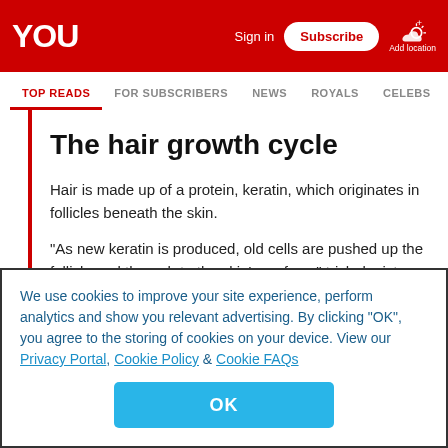YOU — Sign in | Subscribe | Add location
TOP READS | FOR SUBSCRIBERS | NEWS | ROYALS | CELEBS
The hair growth cycle
Hair is made up of a protein, keratin, which originates in follicles beneath the skin.
"As new keratin is produced, old cells are pushed up the follicle and through to the skin's surface," trichologist Simone Lee says.
We use cookies to improve your site experience, perform analytics and show you relevant advertising. By clicking "OK", you agree to the storing of cookies on your device. View our Privacy Portal, Cookie Policy & Cookie FAQs